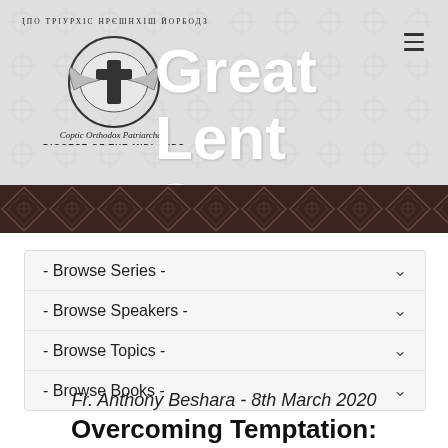[Figure (logo): Coptic Orthodox Patriarchate Diocese of the Midlands logo with circular Coptic text and cross emblem]
Great Lent Sermons
- Browse Series -
- Browse Speakers -
- Browse Topics -
- Browse Books -
Fr. Anthony Beshara - 8th March 2020
Overcoming Temptation: